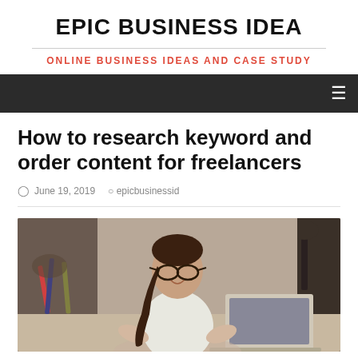EPIC BUSINESS IDEA
ONLINE BUSINESS IDEAS AND CASE STUDY
How to research keyword and order content for freelancers
June 19, 2019   epicbusinessid
[Figure (photo): A young woman with glasses and a ponytail smiling while working on a laptop, with art supplies visible in the background]